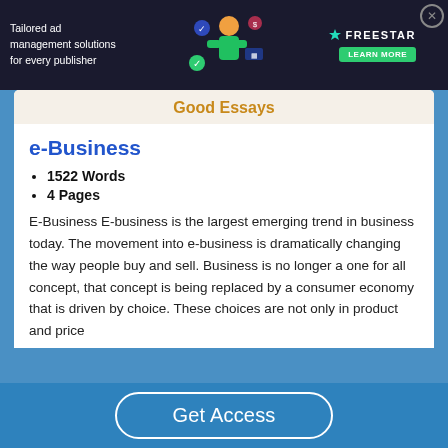[Figure (screenshot): Freestar advertisement banner: dark background with text 'Tailored ad management solutions for every publisher', colorful illustration of person with icons, Freestar logo and 'Learn More' button, close X button]
Good Essays
e-Business
1522 Words
4 Pages
E-Business E-business is the largest emerging trend in business today. The movement into e-business is dramatically changing the way people buy and sell. Business is no longer a one for all concept, that concept is being replaced by a consumer economy that is driven by choice. These choices are not only in product and price
Get Access